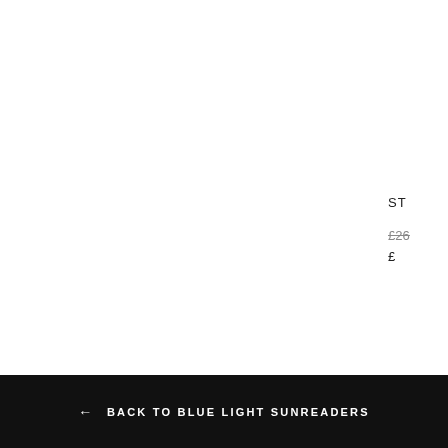ST
£26
£
← BACK TO BLUE LIGHT SUNREADERS